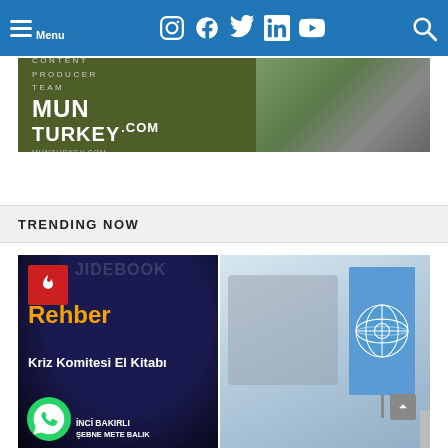Menu | Instagram | Facebook | Twitter | LinkedIn | YouTube | Search
[Figure (illustration): MUN Turkey Content Producer Team banner advertisement with dark green left side showing logo and text, and photo of person on right]
TRENDING NOW
[Figure (photo): Dark blue starry background book cover with fire icon badge, orange Rehber text, white Kriz Komitesi El Kitabı subtitle, WhatsApp icon, and İNCİ BAKIRLI author name]
[Figure (photo): Photo of people at a conference table with a United Nations flag in the foreground]